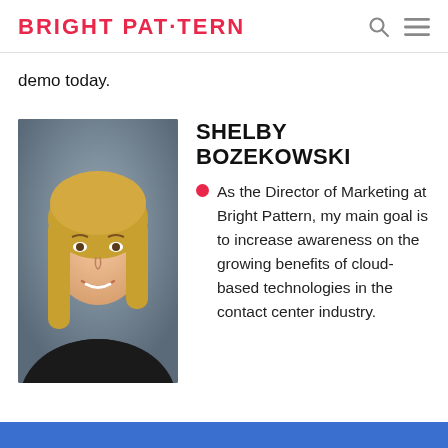BRIGHT PATTERN
demo today.
SHELBY BOZEKOWSKI
As the Director of Marketing at Bright Pattern, my main goal is to increase awareness on the growing benefits of cloud-based technologies in the contact center industry.
[Figure (photo): Professional headshot of Shelby Bozekowski, a young woman with long blonde hair, smiling, wearing dark clothing against a grey background.]